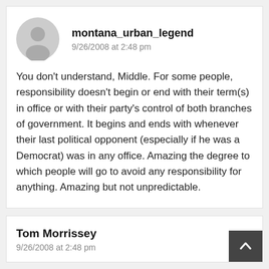montana_urban_legend
9/26/2008 at 2:48 pm

You don't understand, Middle. For some people, responsibility doesn't begin or end with their term(s) in office or with their party's control of both branches of government. It begins and ends with whenever their last political opponent (especially if he was a Democrat) was in any office. Amazing the degree to which people will go to avoid any responsibility for anything. Amazing but not unpredictable.
Tom Morrissey
9/26/2008 at 2:48 pm